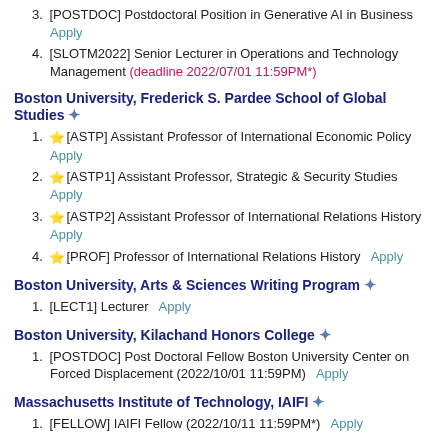3. [POSTDOC] Postdoctoral Position in Generative AI in Business Apply
4. [SLOTM2022] Senior Lecturer in Operations and Technology Management (deadline 2022/07/01 11:59PM*)
Boston University, Frederick S. Pardee School of Global Studies
1. [ASTP] Assistant Professor of International Economic Policy Apply
2. [ASTP1] Assistant Professor, Strategic & Security Studies Apply
3. [ASTP2] Assistant Professor of International Relations History Apply
4. [PROF] Professor of International Relations History Apply
Boston University, Arts & Sciences Writing Program
1. [LECT1] Lecturer Apply
Boston University, Kilachand Honors College
1. [POSTDOC] Post Doctoral Fellow Boston University Center on Forced Displacement (2022/10/01 11:59PM) Apply
Massachusetts Institute of Technology, IAIFI
1. [FELLOW] IAIFI Fellow (2022/10/11 11:59PM*) Apply